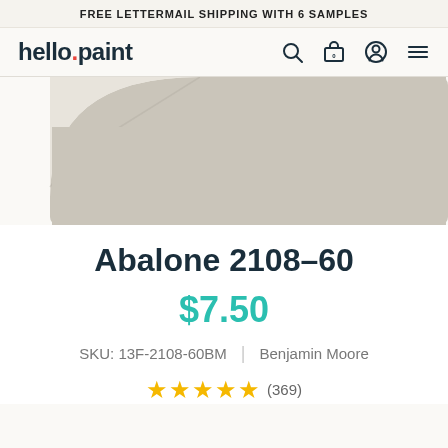FREE LETTERMAIL SHIPPING WITH 6 SAMPLES
[Figure (logo): hello.paint logo with navigation icons (search, cart, account, menu)]
[Figure (photo): Paint chip sample card showing Abalone 2108-60 color - a warm greige/gray tone with curled corner effect]
Abalone 2108-60
$7.50
SKU: 13F-2108-60BM | Benjamin Moore
★★★★★ (369)